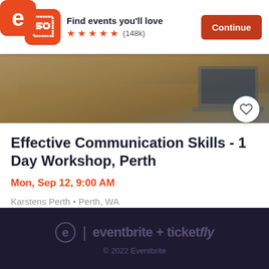Find events you'll love ★★★★★ (148k) Continue
[Figure (photo): Header/hero image of a wooden desk with a laptop, partially visible at the top of the listing card]
Effective Communication Skills - 1 Day Workshop, Perth
Mon, Sep 12, 9:00 AM
Karstens Perth • Perth, WA
$1,450
e | eventbrite + ticketfly © 2022 Eventbrite